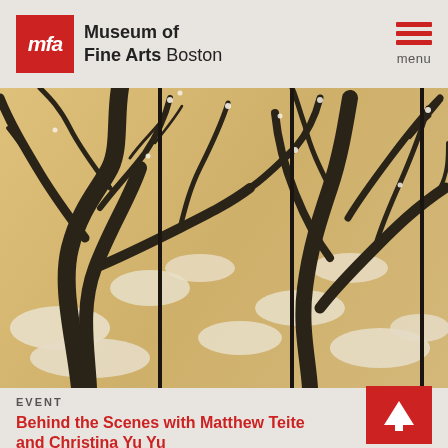Museum of Fine Arts Boston
[Figure (illustration): Japanese folding screen painting depicting snow-covered tree branches (plum or pine) in ink on gold/cream background, divided into four panels by black vertical lines]
EVENT
Behind the Scenes with Matthew Teite and Christina Yu Yu